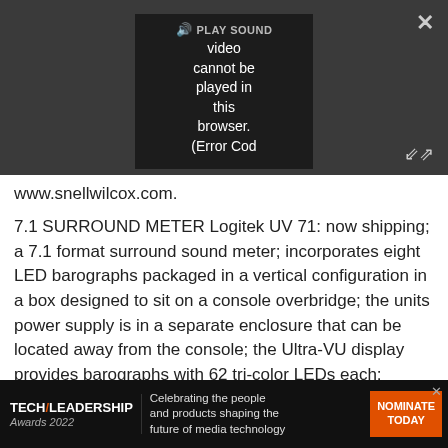[Figure (screenshot): Video player overlay showing 'PLAY SOUND' button and error message: 'video cannot be played in this browser. (Error Cod' on dark background, with close (X) and expand buttons]
www.snellwilcox.com.
7.1 SURROUND METER Logitek UV 71: now shipping; a 7.1 format surround sound meter; incorporates eight LED barographs packaged in a vertical configuration in a box designed to sit on a console overbridge; the units power supply is in a separate enclosure that can be located away from the console; the Ultra-VU display provides barographs with 62 tri-color LEDs each; operating modes, including loudness filter, fine resolution and
[Figure (screenshot): Tech Leadership Awards 2022 advertisement banner: 'Celebrating the people and products shaping the future of media technology' with NOMINATE TODAY button]